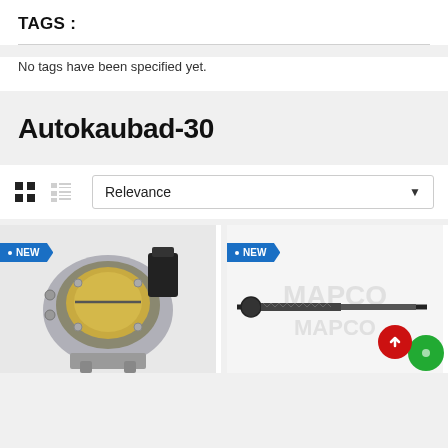TAGS :
No tags have been specified yet.
Autokaubad-30
[Figure (screenshot): Product grid view controls: grid icon (active), list icon, and a Relevance sort dropdown with down arrow]
[Figure (photo): Automotive throttle body part with NEW badge label on product card]
[Figure (photo): Automotive steering rack tie rod end part with NEW badge label on product card, with red up-arrow scroll button and green circle button overlay]